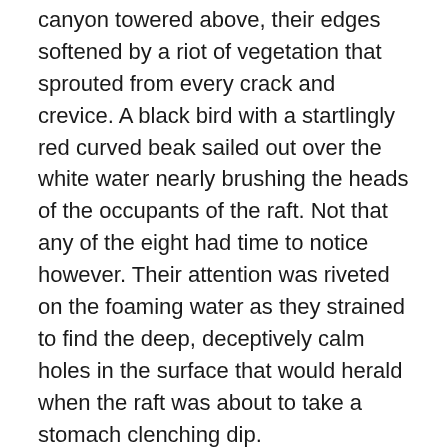canyon towered above, their edges softened by a riot of vegetation that sprouted from every crack and crevice. A black bird with a startlingly red curved beak sailed out over the white water nearly brushing the heads of the occupants of the raft. Not that any of the eight had time to notice however. Their attention was riveted on the foaming water as they strained to find the deep, deceptively calm holes in the surface that would herald when the raft was about to take a stomach clenching dip.
The raft swept around a corner in a wave of white spray and eyes left the surface. A sheet of water cascaded from the edge of the cliff thirty feet above. The children shrieked as if by the very volume and pitch of their cries they could witch the raft under the falls. In contrast, most of the adults cowered, tightly clenching belongings as if this secular prayer could prevent the raft from that very thing. Too